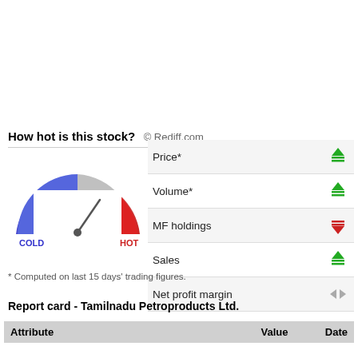How hot is this stock? © Rediff.com
[Figure (other): A semicircular gauge/speedometer graphic with blue on the left labeled COLD and red on the right labeled HOT. The needle points toward the HOT side.]
|  | Price* |  |
| --- | --- | --- |
| Price* |  | ▲▲ |
| Volume* |  | ▲▲ |
| MF holdings |  | ▼▼ |
| Sales |  | ▲▲ |
| Net profit margin |  | ◁▷ |
* Computed on last 15 days' trading figures.
Report card - Tamilnadu Petroproducts Ltd.
| Attribute | Value | Date |
| --- | --- | --- |